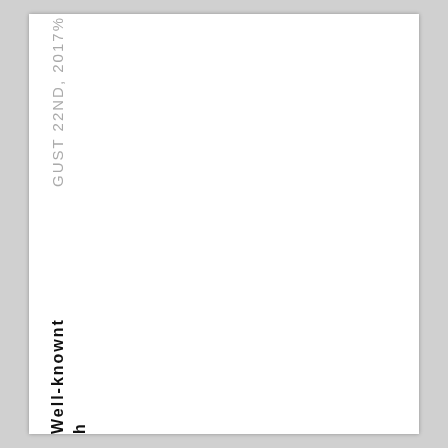GUST 22ND, 2017%
Well-knownt h